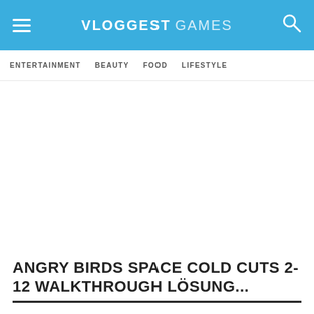VLOGGEST GAMES
ENTERTAINMENT   BEAUTY   FOOD   LIFESTYLE
ANGRY BIRDS SPACE COLD CUTS 2-12 WALKTHROUGH LÖSUNG...